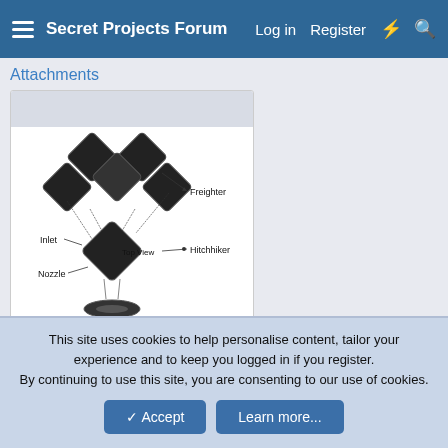Secret Projects Forum  Log in  Register
Attachments
[Figure (schematic): Technical diagram labeled 'Virtual Memphis.jpg' showing top view and rear view of a modular aircraft design with multiple engine/inlet modules arranged in a diamond pattern. Labels include: Inlet, Nozzle, Top View, Rear View, Freighter, Hitchhiker.]
Virtual Memphis.jpg
This site uses cookies to help personalise content, tailor your experience and to keep you logged in if you register.
By continuing to use this site, you are consenting to our use of cookies.